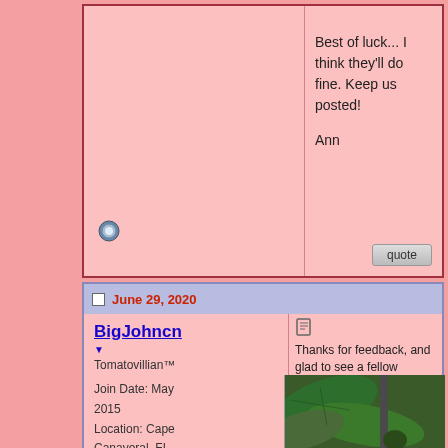Best of luck... I think they'll do fine. Keep us posted!

Ann
June 29, 2020
BigJohncn
Tomatovillian™
Join Date: May 2015
Location: Cape Canaveral, FL
Posts: 11
Thanks for feedback, and glad to see a fellow Centr... shady cave all afternoon, and so protects from hail a... total...lol.

They are still curling leaves late in the day, but grow... encouraging to me.

Not sure if this is normal for this Supersweet 100 hy... this dense cluster so far...and it's still going. On the...

Never had tomato plants do that before.
[Figure (photo): Close-up photo of tomato plant leaves and what appears to be a developing tomato fruit]